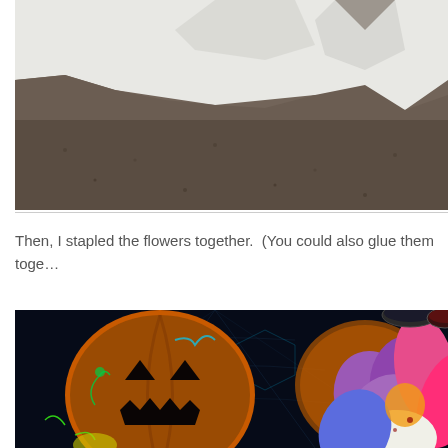[Figure (photo): Top portion of a photo showing white paper or fabric on a grey concrete/asphalt surface]
Then, I stapled the flowers together.  (You could also glue them toge...
[Figure (photo): Colorful Halloween-themed craft photo showing a jack-o-lantern stamp/print on dark background alongside colorful flower petals, with paint containers visible at top]